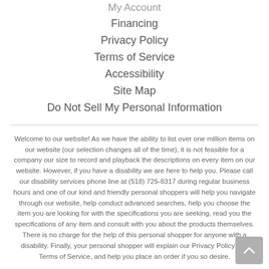My Account
Financing
Privacy Policy
Terms of Service
Accessibility
Site Map
Do Not Sell My Personal Information
Welcome to our website! As we have the ability to list over one million items on our website (our selection changes all of the time), it is not feasible for a company our size to record and playback the descriptions on every item on our website. However, if you have a disability we are here to help you. Please call our disability services phone line at (518) 725-8317 during regular business hours and one of our kind and friendly personal shoppers will help you navigate through our website, help conduct advanced searches, help you choose the item you are looking for with the specifications you are seeking, read you the specifications of any item and consult with you about the products themselves. There is no charge for the help of this personal shopper for anyone with a disability. Finally, your personal shopper will explain our Privacy Policy and Terms of Service, and help you place an order if you so desire.